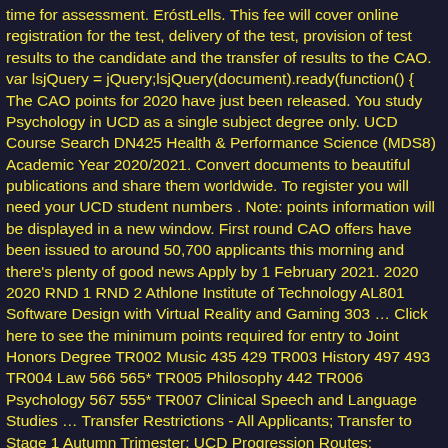time for assessment. EróstLells. This fee will cover online registration for the test, delivery of the test, provision of test results to the candidate and the transfer of results to the CAO. var lsjQuery = jQuery;lsjQuery(document).ready(function() { The CAO points for 2020 have just been released. You study Psychology in UCD as a single subject degree only. UCD Course Search DN425 Health & Performance Science (MDS8) Academic Year 2020/2021. Convert documents to beautiful publications and share them worldwide. To register you will need your UCD student numbers . Note: points information will be displayed in a new window. First round CAO offers have been issued to around 50,700 applicants this morning and there's plenty of good news Apply by 1 February 2021. 2020 2020 RND 1 RND 2 Athlone Institute of Technology AL801 Software Design with Virtual Reality and Gaming 303 … Click here to see the minimum points required for entry to Joint Honors Degree TR002 Music 435 429 TR003 History 497 493 TR004 Law 566 565* TR005 Philosophy 442 TR006 Psychology 567 555* TR007 Clinical Speech and Language Studies … Transfer Restrictions - All Applicants; Transfer to Stage 1 Autumn Trimester; UCD Progression Routes; Progression from Higher Certs (6) or … Qualifax - National Learners' Database of course and career information. Points for computer science, which leads to a qualification in one of the most in-demand professions, are up significantly, with UCC's course rising from 402 to 468 points, UCD… }; This three-year BSocSc Social Policy & Sociology